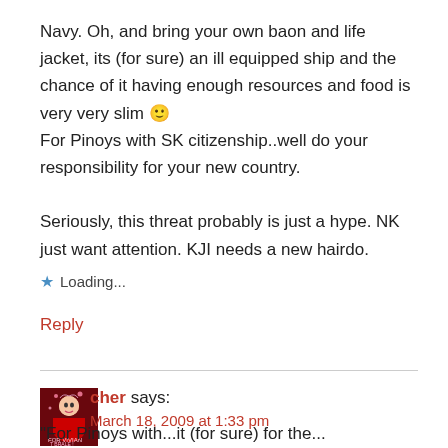Navy. Oh, and bring your own baon and life jacket, its (for sure) an ill equipped ship and the chance of it having enough resources and food is very very slim 🙂 For Pinoys with SK citizenship..well do your responsibility for your new country.
Seriously, this threat probably is just a hype. NK just want attention. KJI needs a new hairdo.
★ Loading...
Reply
cher says:
March 18, 2009 at 1:33 pm
(For Pinoys with...it (for sure) for the...